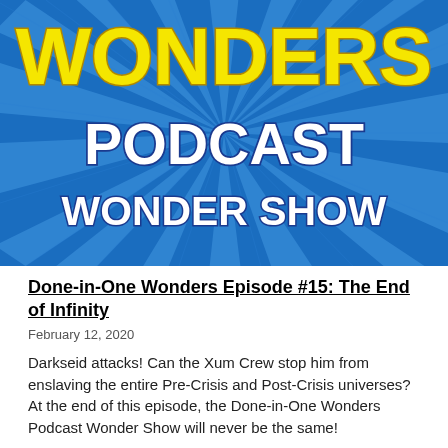[Figure (illustration): Comic-book style podcast logo with blue sunburst background. Large yellow 'WONDERS' text at top, then white 'PODCAST' text in the middle, then white 'WONDER SHOW' text at the bottom.]
Done-in-One Wonders Episode #15: The End of Infinity
February 12, 2020
Darkseid attacks! Can the Xum Crew stop him from enslaving the entire Pre-Crisis and Post-Crisis universes? At the end of this episode, the Done-in-One Wonders Podcast Wonder Show will never be the same!